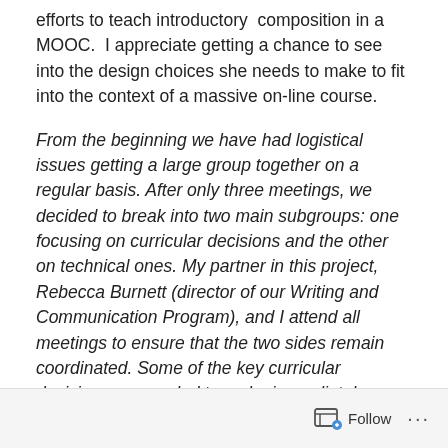efforts to teach introductory composition in a MOOC. I appreciate getting a chance to see into the design choices she needs to make to fit into the context of a massive on-line course.
From the beginning we have had logistical issues getting a large group together on a regular basis. After only three meetings, we decided to break into two main subgroups: one focusing on curricular decisions and the other on technical ones. My partner in this project, Rebecca Burnett (director of our Writing and Communication Program), and I attend all meetings to ensure that the two sides remain coordinated. Some of the key curricular decisions we needed to make immediately were the length and theme of the course, expected student commitment, types of
Follow ···